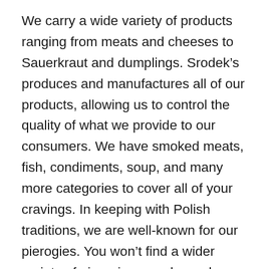We carry a wide variety of products ranging from meats and cheeses to Sauerkraut and dumplings. Srodek’s produces and manufactures all of our products, allowing us to control the quality of what we provide to our consumers. We have smoked meats, fish, condiments, soup, and many more categories to cover all of your cravings. In keeping with Polish traditions, we are well-known for our pierogies. You won’t find a wider variety of pierogies anywhere else. Whether you’re looking for the standard potato and cheese option or looking to branch out to a unique flavor like Pulled Pork or Jalapeno Popper, we have it for you! We even have a gluten-free